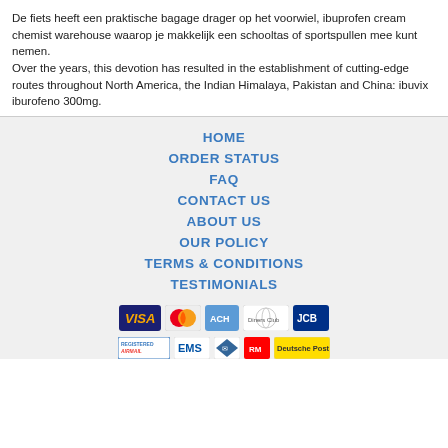De fiets heeft een praktische bagage drager op het voorwiel, ibuprofen cream chemist warehouse waarop je makkelijk een schooltas of sportspullen mee kunt nemen.
Over the years, this devotion has resulted in the establishment of cutting-edge routes throughout North America, the Indian Himalaya, Pakistan and China: ibuvix iburofeno 300mg.
HOME
ORDER STATUS
FAQ
CONTACT US
ABOUT US
OUR POLICY
TERMS & CONDITIONS
TESTIMONIALS
[Figure (other): Payment method icons: VISA, MasterCard, ACH, Diners Club, JCB]
[Figure (other): Shipping icons: Registered Airmail, EMS, USPS, Royal Mail, Deutsche Post]